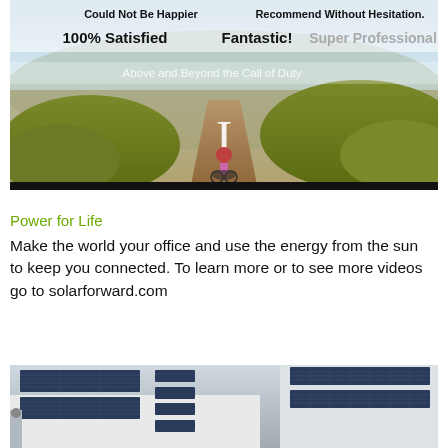[Figure (photo): A person on a bicycle riding up a dirt trail through scrubby hills; overlaid customer testimonial text: 'Could Not Be Happier', 'Recommend Without Hesitation.', '100% Satisfied', 'Fantastic!', 'Super Professional', 'Above and Beyond the Call of Duty']
Power for Life
Make the world your office and use the energy from the sun to keep you connected. To learn more or to see more videos go to solarforward.com
[Figure (photo): Aerial or elevated view of a building rooftop covered with solar panels]